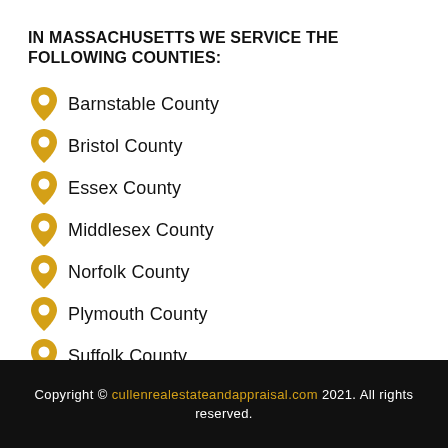IN MASSACHUSETTS WE SERVICE THE FOLLOWING COUNTIES:
Barnstable County
Bristol County
Essex County
Middlesex County
Norfolk County
Plymouth County
Suffolk County
Worcester County
All of Rhode Island
Copyright © cullenrealestateandappraisal.com 2021. All rights reserved.